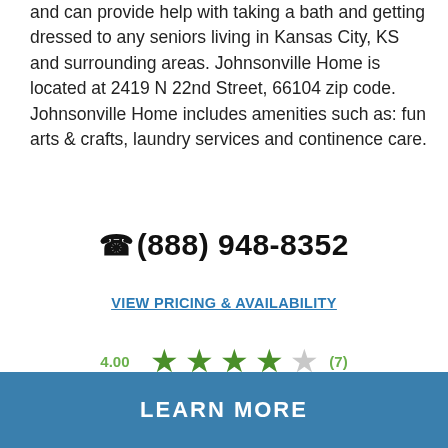and can provide help with taking a bath and getting dressed to any seniors living in Kansas City, KS and surrounding areas. Johnsonville Home is located at 2419 N 22nd Street, 66104 zip code. Johnsonville Home includes amenities such as: fun arts & crafts, laundry services and continence care.
(888) 948-8352
VIEW PRICING & AVAILABILITY
4.00 ★★★★☆ (7)
LEARN MORE